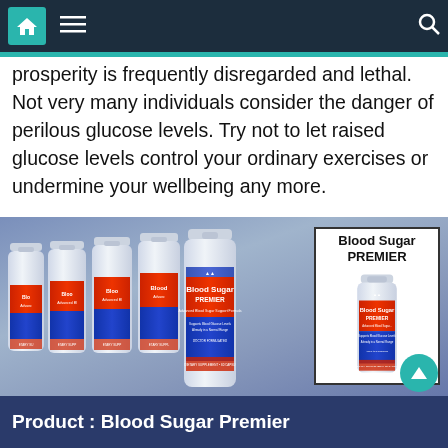Navigation bar with home, menu, and search icons
prosperity is frequently disregarded and lethal. Not very many individuals consider the danger of perilous glucose levels. Try not to let raised glucose levels control your ordinary exercises or undermine your wellbeing any more.
[Figure (photo): Multiple bottles of Blood Sugar Premier supplement arranged in a row, with one single bottle shown in a white box on the right side. Label reads: Blood Sugar PREMIER, Advanced Blood Sugar Support Formula, Supports Blood Glucose Levels Already in a Normal Range, Doctor Formulated, Dietary Supplement 60 Capsules.]
Product : Blood Sugar Premier